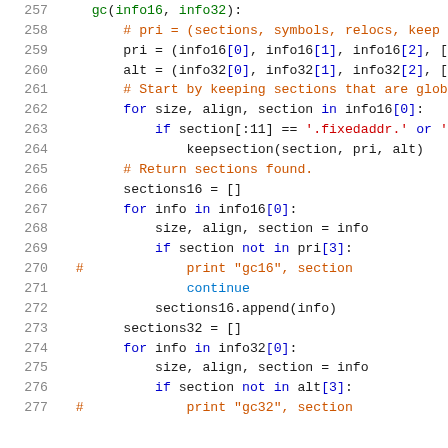[Figure (screenshot): Python source code snippet, lines 258-277, showing a function that processes section info for 16-bit and 32-bit architectures, with syntax highlighting in blue, orange, red, and green on white background.]